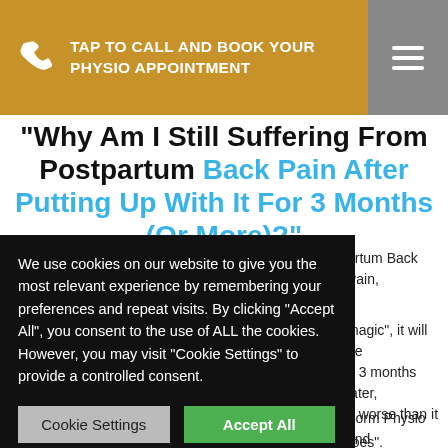TAP TO CALL AND BOOK YOUR PHYSIO APPOINTMENT
“Why Am I Still Suffering From Postpartum Back Pain After Putting Up With It For 3 Months (Or More)?”
...artum Back Pain, ...magic”, it will be ...n 3 months later, ...n worse than it ...Form Physio and ...d the Doctor tells them to rest and “try these painkillers” and “see how it goes”.
We use cookies on our website to give you the most relevant experience by remembering your preferences and repeat visits. By clicking “Accept All”, you consent to the use of ALL the cookies. However, you may visit “Cookie Settings” to provide a controlled consent.